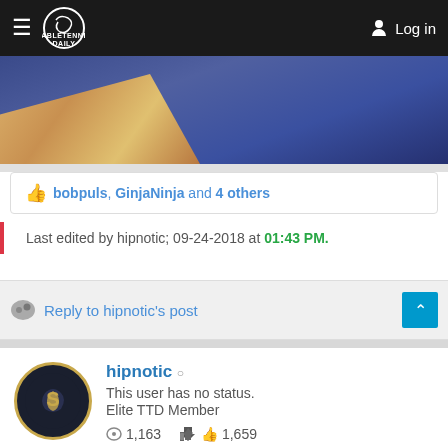TableTennisDaily — Log in
[Figure (photo): Close-up photo of a wooden table tennis paddle on blue fabric background]
👍 bobpuls, GinjaNinja and 4 others
Last edited by hipnotic; 09-24-2018 at 01:43 PM.
Reply to hipnotic's post
hipnotic
This user has no status.
Elite TTD Member
1,163  1,659